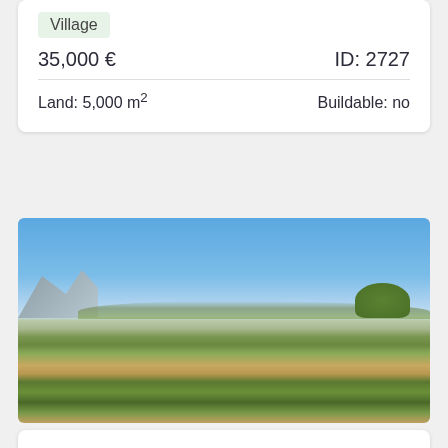Village
35,000 €
ID: 2727
Land: 5,000 m²
Buildable: no
[Figure (photo): Outdoor landscape photo showing scrubland and dry vegetation under a clear blue sky, with mountains and coast visible in the distance]